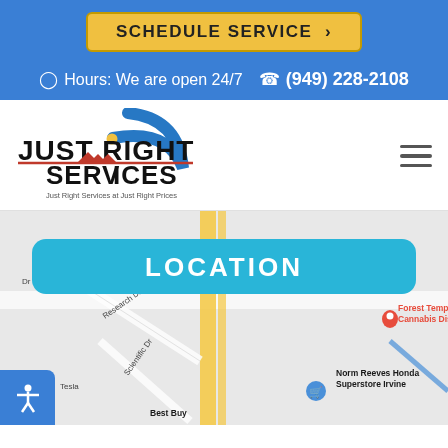SCHEDULE SERVICE >
Hours: We are open 24/7  (949) 228-2108
[Figure (logo): Just Right Services logo with blue arc and red rooftop graphic, tagline: Just Right Services at Just Right Prices]
LOCATION
[Figure (map): Google Maps screenshot showing location near Research Dr, Scientific Dr, Norm Reeves Honda Superstore Irvine, Forest Temple Cannabis Dispensary, Best Buy]